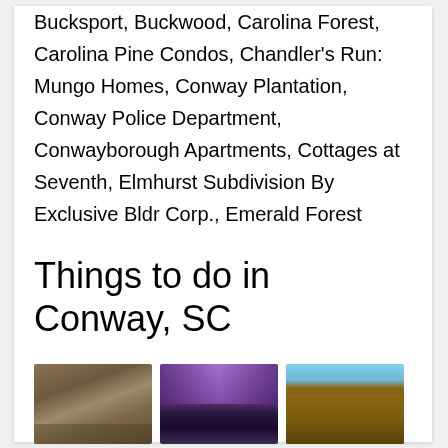Bucksport, Buckwood, Carolina Forest, Carolina Pine Condos, Chandler's Run: Mungo Homes, Conway Plantation, Conway Police Department, Conwayborough Apartments, Cottages at Seventh, Elmhurst Subdivision By Exclusive Bldr Corp., Emerald Forest
Things to do in Conway, SC
[Figure (photo): Photo of an alligator resting on the ground]
Alligator Adventure
[Figure (photo): Photo of Bay Village interior with colorful lighting]
Bay Village
[Figure (photo): Photo of Black Water Market building exterior]
Black Water Market